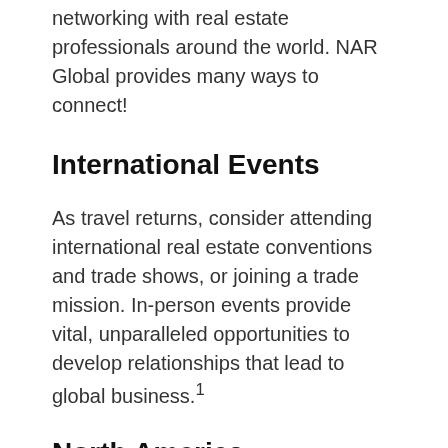networking with real estate professionals around the world. NAR Global provides many ways to connect!
International Events
As travel returns, consider attending international real estate conventions and trade shows, or joining a trade mission. In-person events provide vital, unparalleled opportunities to develop relationships that lead to global business.¹
North America
REALTORS® Conference & Expo (US)
CE Summit (US)